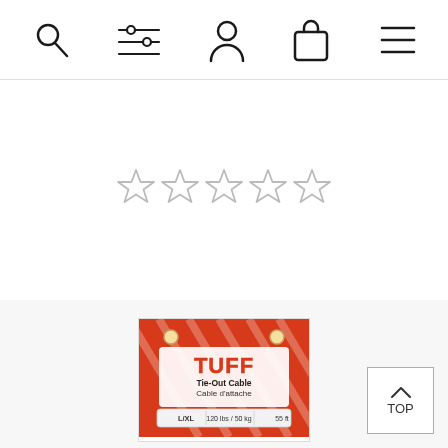[Figure (screenshot): Website navigation bar with icons: search (magnifying glass), filters (sliders), user profile, shopping bag, and hamburger menu]
[Figure (other): Five empty star rating icons displayed in a row, indicating a 0 out of 5 star rating]
[Figure (photo): Product image: TUFF Tie-Out Cable / Cable d'attache, size L/XL, 120 lbs / 50 kg, 55 ft, red packaging]
[Figure (other): TOP button with upward chevron arrow in a tan-bordered square box]